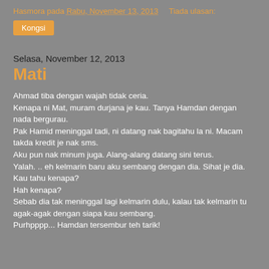Hasmora pada Rabu, November 13, 2013   Tiada ulasan:
Kongsi
Selasa, November 12, 2013
Mati
Ahmad tiba dengan wajah tidak ceria.
Kenapa ni Mat, muram durjana je kau. Tanya Hamdan dengan nada bergurau.
Pak Hamid meninggal tadi, ni datang nak bagitahu la ni. Macam takda kredit je nak sms.
Aku pun nak minum juga. Alang-alang datang sini terus.
Yalah. .. eh kelmarin baru aku sembang dengan dia. Sihat je dia.
Kau tahu kenapa?
Hah kenapa?
Sebab dia tak meninggal lagi kelmarin dulu, kalau tak kelmarin tu agak-agak dengan siapa kau sembang.
Purhpppp... Hamdan tersembur teh tarik!